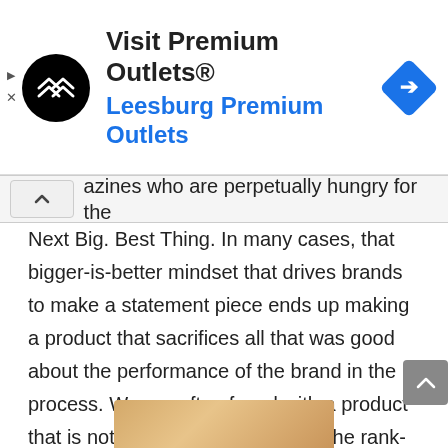[Figure (screenshot): Advertisement banner for 'Visit Premium Outlets® - Leesburg Premium Outlets' with black circular logo with double-chevron icon on left, text in center, and blue diamond navigation icon on right. Play and close buttons on far left edge.]
azines who are perpetually hungry for the Next Big. Best Thing. In many cases, that bigger-is-better mindset that drives brands to make a statement piece ends up making a product that sacrifices all that was good about the performance of the brand in the process. We are often faced with a product that is not necessarily better than the rank- and-file cheaper models, just bigger, in looks, price-tag, and – most importantly – price.
[Figure (photo): Partial view of a wooden box or furniture piece at the bottom of the page.]